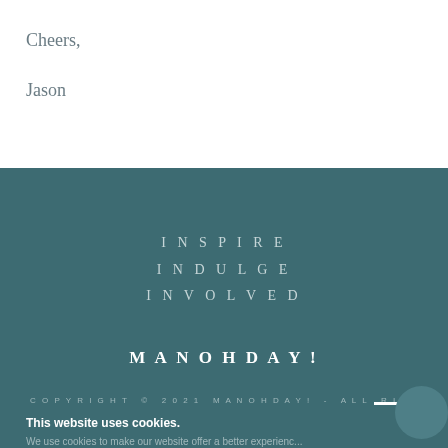Cheers,
Jason
INSPIRE
INDULGE
INVOLVED
MANOHDAY!
COPYRIGHT © 2021 MANOHDAY! - ALL RI
This website uses cookies.
We use cookies to make our website offer a better experience.